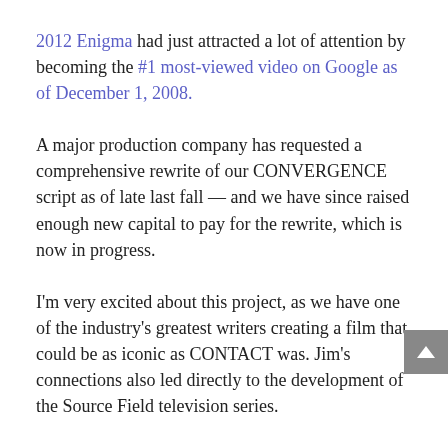2012 Enigma had just attracted a lot of attention by becoming the #1 most-viewed video on Google as of December 1, 2008.
A major production company has requested a comprehensive rewrite of our CONVERGENCE script as of late last fall — and we have since raised enough new capital to pay for the rewrite, which is now in progress.
I'm very excited about this project, as we have one of the industry's greatest writers creating a film that could be as iconic as CONTACT was. Jim's connections also led directly to the development of the Source Field television series.
WITHOUT FURTHER ADO...
And now, without further ado, we will get to the reading I